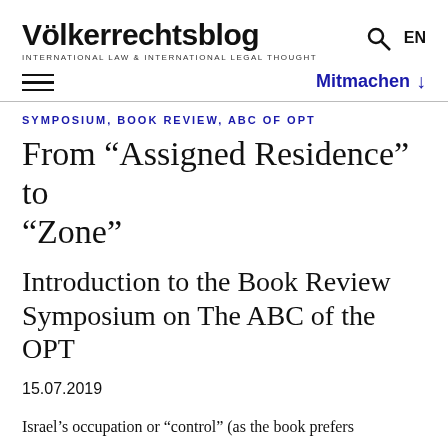Völkerrechtsblog
INTERNATIONAL LAW & INTERNATIONAL LEGAL THOUGHT
Mitmachen ↓
SYMPOSIUM, BOOK REVIEW, ABC OF OPT
From “Assigned Residence” to “Zone”
Introduction to the Book Review Symposium on The ABC of the OPT
15.07.2019
Israel’s occupation or “control” (as the book prefers